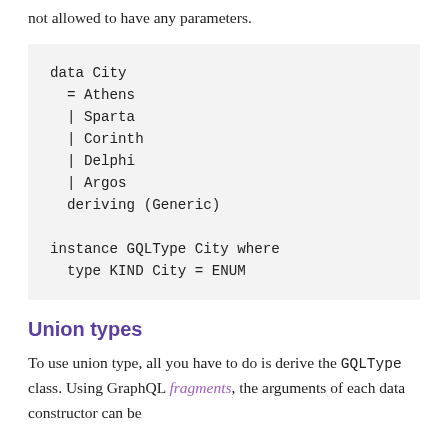not allowed to have any parameters.
data City
  = Athens
  | Sparta
  | Corinth
  | Delphi
  | Argos
  deriving (Generic)

instance GQLType City where
  type KIND City = ENUM
Union types
To use union type, all you have to do is derive the GQLType class. Using GraphQL fragments, the arguments of each data constructor can be